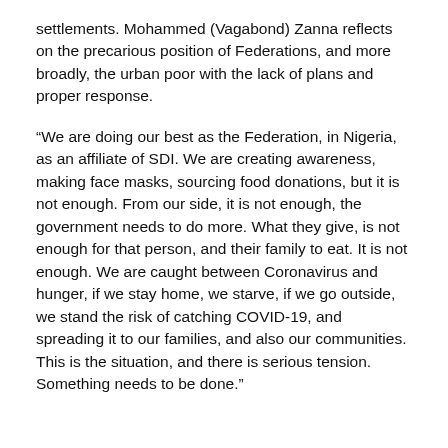settlements. Mohammed (Vagabond) Zanna reflects on the precarious position of Federations, and more broadly, the urban poor with the lack of plans and proper response.
“We are doing our best as the Federation, in Nigeria, as an affiliate of SDI. We are creating awareness, making face masks, sourcing food donations, but it is not enough. From our side, it is not enough, the government needs to do more. What they give, is not enough for that person, and their family to eat. It is not enough. We are caught between Coronavirus and hunger, if we stay home, we starve, if we go outside, we stand the risk of catching COVID-19, and spreading it to our families, and also our communities. This is the situation, and there is serious tension. Something needs to be done.”